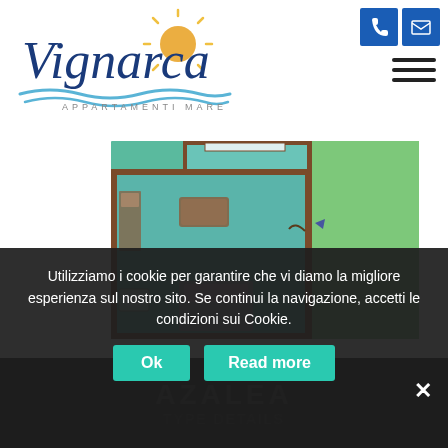[Figure (logo): Vignarca Appartamenti Mare logo with sun and wave graphic, blue italic script text]
[Figure (engineering-diagram): Apartment floor plan showing rooms with teal/green walls, furniture layout including bed, sofa, kitchen area, bathroom, and a large green outdoor/terrace area on the right]
Utilizziamo i cookie per garantire che vi diamo la migliore esperienza sul nostro sito. Se continui la navigazione, accetti le condizioni sui Cookie.
Ok
Read more
AZALEA
TYPE DETAILS